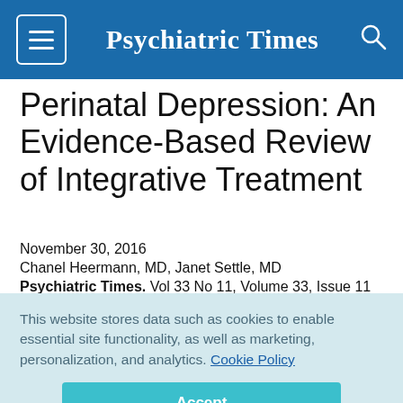Psychiatric Times
Perinatal Depression: An Evidence-Based Review of Integrative Treatment
November 30, 2016
Chanel Heermann, MD, Janet Settle, MD
Psychiatric Times. Vol 33 No 11, Volume 33, Issue 11
This website stores data such as cookies to enable essential site functionality, as well as marketing, personalization, and analytics. Cookie Policy
Accept
Deny